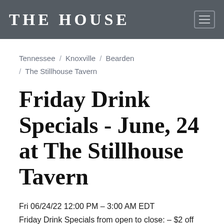THE HOUSE
Tennessee / Knoxville / Bearden / The Stillhouse Tavern
Friday Drink Specials - June, 24 at The Stillhouse Tavern
Fri 06/24/22 12:00 PM – 3:00 AM EDT
Friday Drink Specials from open to close: – $2 off